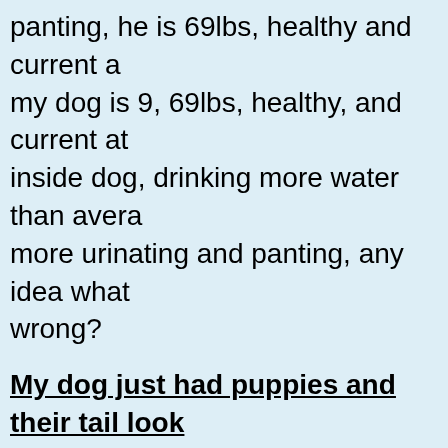panting, he is 69lbs, healthy and current a my dog is 9, 69lbs, healthy, and current at inside dog, drinking more water than avera more urinating and panting, any idea what wrong?
My dog just had puppies and their tail look rat tail
my dog just had puppies and their tail look rat tail has no hair on them patches on fee u have n idea of what mayb wrong is there sumthing i can buy?
My dog doesn't have EPI; what else might i
His TLI test showed normal levels. I took h of Prozyme and 4 days later he started ha diahrrea and he vomitted early this mornin